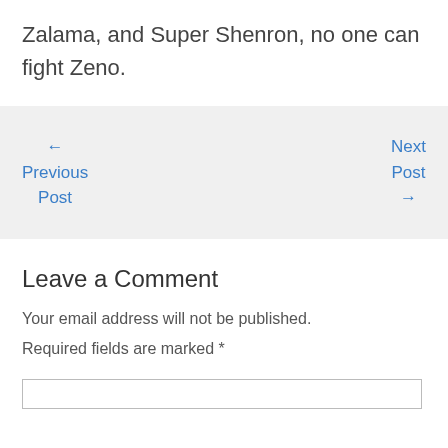Zalama, and Super Shenron, no one can fight Zeno.
← Previous Post
Next Post →
Leave a Comment
Your email address will not be published. Required fields are marked *